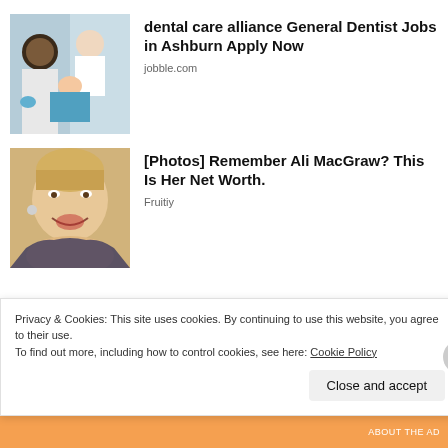[Figure (photo): Dental office scene: a dentist and dental assistant with a child patient in a dental chair]
dental care alliance General Dentist Jobs in Ashburn Apply Now
jobble.com
[Figure (photo): Portrait of an older blonde woman smiling, presumably Ali MacGraw]
[Photos] Remember Ali MacGraw? This Is Her Net Worth.
Fruitiy
[Figure (photo): Dark background photo with partial face silhouette]
Privacy & Cookies: This site uses cookies. By continuing to use this website, you agree to their use.
To find out more, including how to control cookies, see here: Cookie Policy
Close and accept